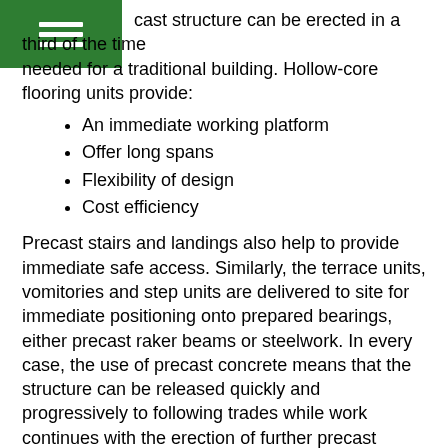(menu icon)
cast structure can be erected in a third of the time needed for a traditional building. Hollow-core flooring units provide:
An immediate working platform
Offer long spans
Flexibility of design
Cost efficiency
Precast stairs and landings also help to provide immediate safe access. Similarly, the terrace units, vomitories and step units are delivered to site for immediate positioning onto prepared bearings, either precast raker beams or steelwork. In every case, the use of precast concrete means that the structure can be released quickly and progressively to following trades while work continues with the erection of further precast elements.
In most newly constructed stadia, the precast flooring, terraces and stairs are erected on a steel-framed structure. Given technical input from both parties of the design team, the combination of the two techniques, concrete and steel, leads to an efficient and economic design for the project.
Elements of the Structure